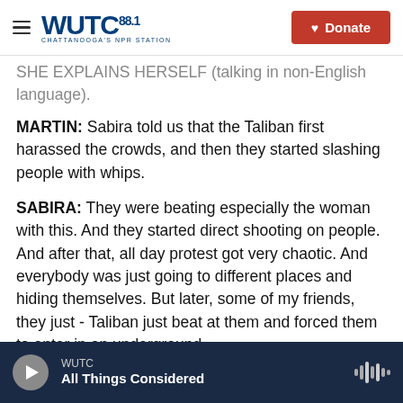WUTC 88.1 Chattanooga's NPR Station | Donate
SHE EXPLAINS HERSELF (talking in non-English language).
MARTIN: Sabira told us that the Taliban first harassed the crowds, and then they started slashing people with whips.
SABIRA: They were beating especially the woman with this. And they started direct shooting on people. And after that, all day protest got very chaotic. And everybody was just going to different places and hiding themselves. But later, some of my friends, they just - Taliban just beat at them and forced them to enter in an underground.
WUTC | All Things Considered